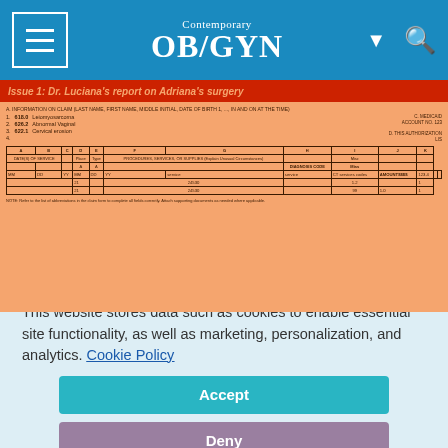Contemporary OB/GYN
[Figure (screenshot): A blurred/low-resolution medical document showing a surgery report titled 'Dr. Luciana's report on Adriana's surgery' with procedure codes and a medical claim table on an orange background.]
This website stores data such as cookies to enable essential site functionality, as well as marketing, personalization, and analytics. Cookie Policy
Accept
Deny